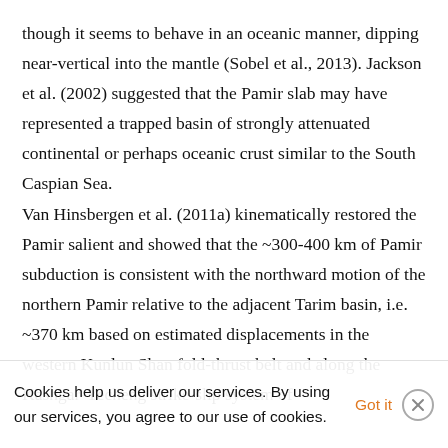though it seems to behave in an oceanic manner, dipping near-vertical into the mantle (Sobel et al., 2013). Jackson et al. (2002) suggested that the Pamir slab may have represented a trapped basin of strongly attenuated continental or perhaps oceanic crust similar to the South Caspian Sea. Van Hinsbergen et al. (2011a) kinematically restored the Pamir salient and showed that the ~300-400 km of Pamir subduction is consistent with the northward motion of the northern Pamir relative to the adjacent Tarim basin, i.e. ~370 km based on estimated displacements in the western Kunlun Shan fold-thrust belt and along the Kashgar-Yecheng strike-slip system of
Cookies help us deliver our services. By using our services, you agree to our use of cookies. Got it